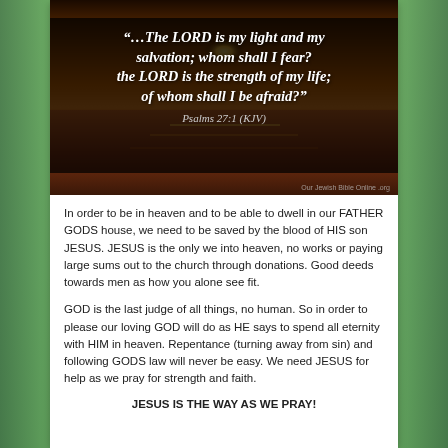[Figure (photo): Sunset over water with dark sky, used as background for Bible verse quote overlay with black background panel]
“…The LORD is my light and my salvation; whom shall I fear? the LORD is the strength of my life; of whom shall I be afraid?” Psalms 27:1 (KJV)
In order to be in heaven and to be able to dwell in our FATHER GODS house, we need to be saved by the blood of HIS son JESUS. JESUS is the only we into heaven, no works or paying large sums out to the church through donations. Good deeds towards men as how you alone see fit.
GOD is the last judge of all things, no human. So in order to please our loving GOD will do as HE says to spend all eternity with HIM in heaven. Repentance (turning away from sin) and following GODS law will never be easy. We need JESUS for help as we pray for strength and faith.
JESUS IS THE WAY AS WE PRAY!